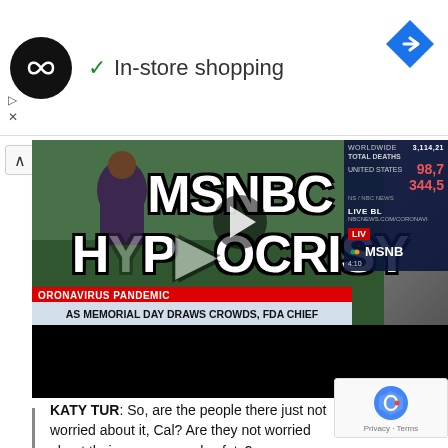[Figure (screenshot): Ad banner with circular black logo showing infinity symbol, checkmark, 'In-store shopping' text, and blue arrow diamond icon top right. Below are playback controls.]
[Figure (screenshot): Video thumbnail of MSNBC news broadcast showing 'MSNBC HYPOCRISY' text overlay, with MSNBC news graphics including coronavirus pandemic lower third reading 'AS MEMORIAL DAY DRAWS CROWDS, FDA CHIEF WARNS VIRUS IS NOT YET CONTAINED', death toll statistics panel on right side, and a play button in center.]
KATY TUR: So, are the people there just not worried about it, Cal? Are they not worried about their own personal safety?